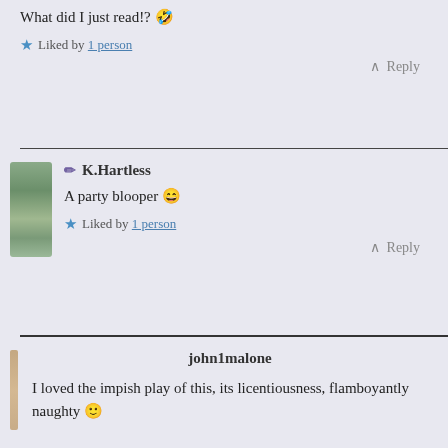What did I just read!? 🤣
★ Liked by 1 person
∧ Reply
✏ K.Hartless
A party blooper 😄
★ Liked by 1 person
∧ Reply
john1malone
I loved the impish play of this, its licentiousness, flamboyantly naughty 🙂